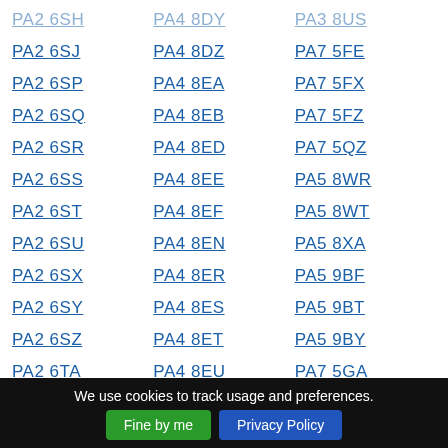PA2 6SH
PA4 8DY
PA3 8US
PA2 6SJ
PA4 8DZ
PA7 5FE
PA2 6SP
PA4 8EA
PA7 5FX
PA2 6SQ
PA4 8EB
PA7 5FZ
PA2 6SR
PA4 8ED
PA7 5QZ
PA2 6SS
PA4 8EE
PA5 8WR
PA2 6ST
PA4 8EF
PA5 8WT
PA2 6SU
PA4 8EN
PA5 8XA
PA2 6SX
PA4 8ER
PA5 9BF
PA2 6SY
PA4 8ES
PA5 9BT
PA2 6SZ
PA4 8ET
PA5 9BY
PA2 6TA
PA4 8EU
PA7 5GA
PA2 6TB
PA4 8EW
PA9 1ED
We use cookies to track usage and preferences.
Fine by me
Privacy Policy